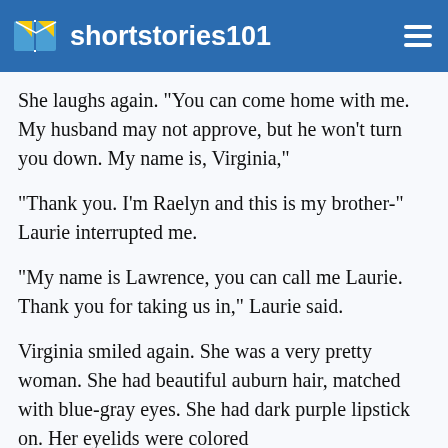shortstories101
She laughs again. "You can come home with me. My husband may not approve, but he won't turn you down. My name is, Virginia,"
"Thank you. I'm Raelyn and this is my brother-" Laurie interrupted me.
"My name is Lawrence, you can call me Laurie. Thank you for taking us in," Laurie said.
Virginia smiled again. She was a very pretty woman. She had beautiful auburn hair, matched with blue-gray eyes. She had dark purple lipstick on. Her eyelids were colored